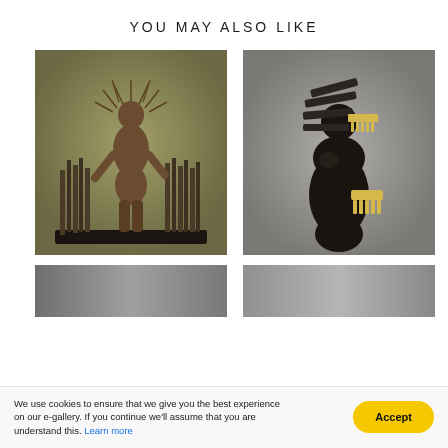YOU MAY ALSO LIKE
[Figure (photo): Bronze sculpture of a female figure standing among vertical rods or stakes, with spikes radiating from her head, on a dark base, against an olive-green background.]
[Figure (photo): Dark wooden sculpture of a female torso figure with a geometric comb-like headpiece and yellow comb element at the waist, against a gray gradient background.]
[Figure (photo): Partial view of another artwork, showing a gray and darker gray toned image, cropped at bottom of page.]
[Figure (photo): Partial view of another artwork, showing a gray toned image, cropped at bottom of page.]
We use cookies to ensure that we give you the best experience on our e-gallery. If you continue we'll assume that you are understand this. Learn more